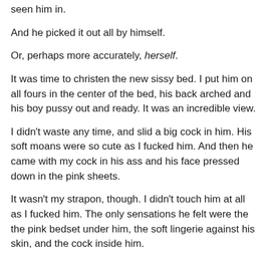seen him in.
And he picked it out all by himself.
Or, perhaps more accurately, herself.
It was time to christen the new sissy bed.  I put him on all fours in the center of the bed, his back arched and his boy pussy out and ready.  It was an incredible view.
I didn't waste any time, and slid a big cock in him.  His soft moans were so cute as I fucked him.  And then he came with my cock in his ass and his face pressed down in the pink sheets.
It wasn't my strapon, though.  I didn't touch him at all as I fucked him.  The only sensations he felt were the the pink bedset under him, the soft lingerie against his skin, and the cock inside him.